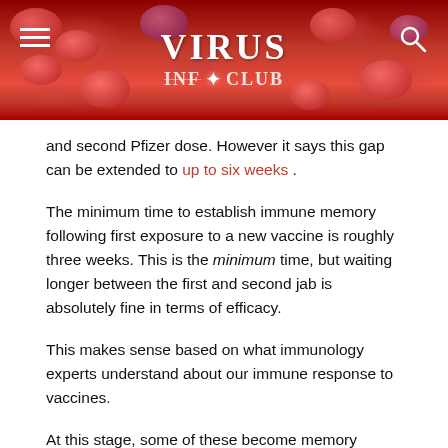[Figure (photo): Header banner with red blood cells microscopy background and 'VIRUS INFO CLUB' logo in white text, with hamburger menu icon on left and search icon on right]
and second Pfizer dose. However it says this gap can be extended to up to six weeks .
The minimum time to establish immune memory following first exposure to a new vaccine is roughly three weeks. This is the minimum time, but waiting longer between the first and second jab is absolutely fine in terms of efficacy.
This makes sense based on what immunology experts understand about our immune response to vaccines.
At this stage, some of these become memory immune cells, and by about the third week they have established immune memory. This means these virus-recognising cells are on hand to rapidly respond if we are exposed again.